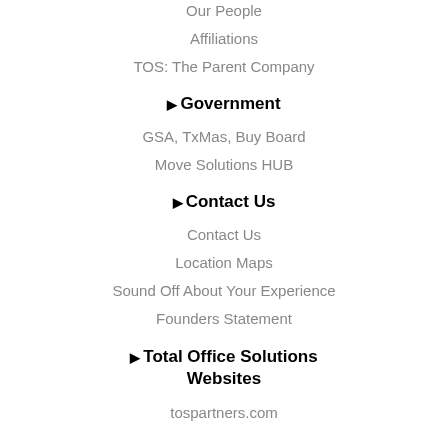Our People
Affiliations
TOS: The Parent Company
▶ Government
GSA, TxMas, Buy Board
Move Solutions HUB
▶ Contact Us
Contact Us
Location Maps
Sound Off About Your Experience
Founders Statement
▶ Total Office Solutions Websites
tospartners.com